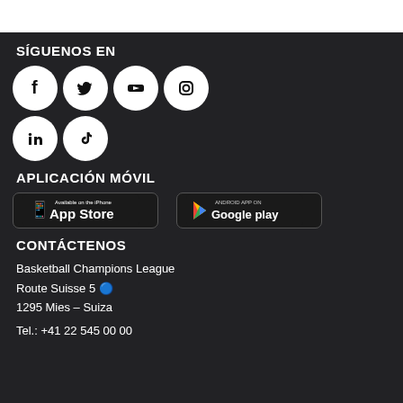SÍGUENOS EN
[Figure (illustration): Six social media icons in two rows: Facebook, Twitter, YouTube (top row); Instagram, LinkedIn, TikTok (bottom row)]
APLICACIÓN MÓVIL
[Figure (illustration): Two app store badges: App Store and Google Play]
CONTÁCTENOS
Basketball Champions League
Route Suisse 5
1295 Mies – Suiza
Tel.: +41 22 545 00 00